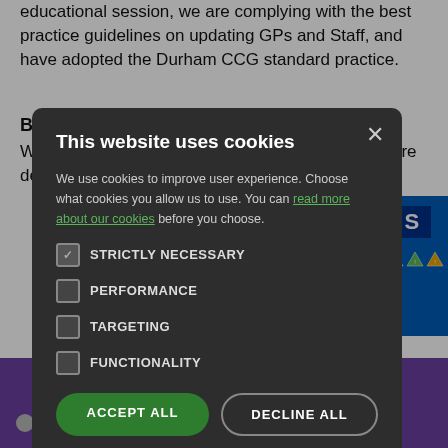educational session, we are complying with the best practice guidelines on updating GPs and Staff, and have adopted the Durham CCG standard practice.
Bank Holidays
We are normally closed on Bank Holidays, which are defined by HM Government:
[Figure (screenshot): Cookie consent modal dialog with dark background overlay. Title: 'This website uses cookies'. Body text explains cookie usage with a link 'read more about our cookies'. Checkboxes: STRICTLY NECESSARY (checked), PERFORMANCE (unchecked), TARGETING (unchecked), FUNCTIONALITY (unchecked). Two buttons: ACCEPT ALL (green) and DECLINE ALL (outline). Close X button top right.]
Opioid Resources